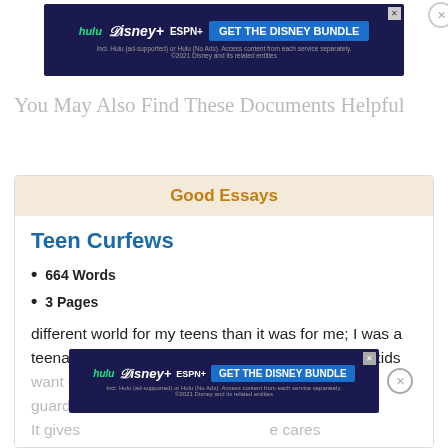[Figure (screenshot): Disney Bundle advertisement banner with Hulu, Disney+, ESPN+ logos and 'GET THE DISNEY BUNDLE' button on dark navy background]
You May Also Find These Documents Helpful
Good Essays
Teen Curfews
664 Words
3 Pages
different world for my teens than it was for me; I was a teenager in the nineties. For the most part, I think kids want curfews and rules set by their parents or guardians. It gives                                                                                e cares for the                                                                          s from getting in trouble late at night. A curfew should slightly
[Figure (screenshot): Disney Bundle advertisement banner with Hulu, Disney+, ESPN+ logos and 'GET THE DISNEY BUNDLE' button on dark navy background, overlaid on text]